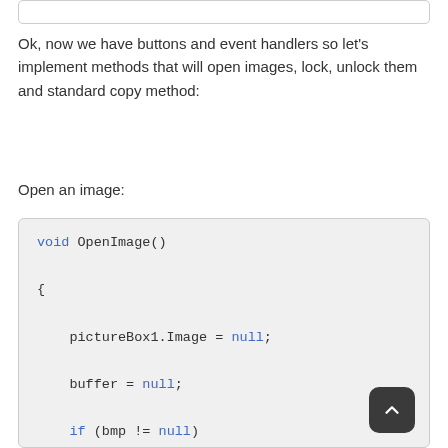Ok, now we have buttons and event handlers so let's implement methods that will open images, lock, unlock them and standard copy method:
Open an image:
void OpenImage()
{
    pictureBox1.Image = null;
    buffer = null;
    if (bmp != null)
    {
        bmp.Dispose();
        bmp = null;
    }
    if (bmp2 != null)